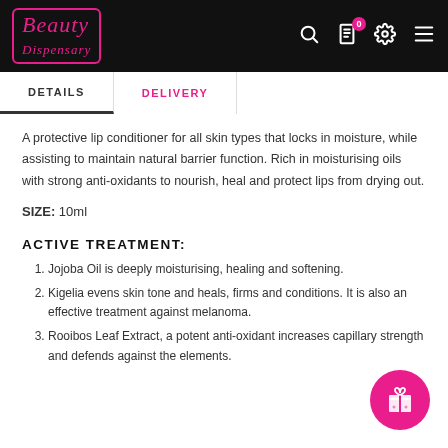Beauty Dispensary — navigation bar with logo, search, cart (0), settings, and menu icons
DETAILS | DELIVERY
A protective lip conditioner for all skin types that locks in moisture, while assisting to maintain natural barrier function. Rich in moisturising oils with strong anti-oxidants to nourish, heal and protect lips from drying out.
SIZE: 10ml
ACTIVE TREATMENT:
Jojoba Oil is deeply moisturising, healing and softening.
Kigelia evens skin tone and heals, firms and conditions. It is also an effective treatment against melanoma.
Rooibos Leaf Extract, a potent anti-oxidant increases capillary strength and defends against the elements.